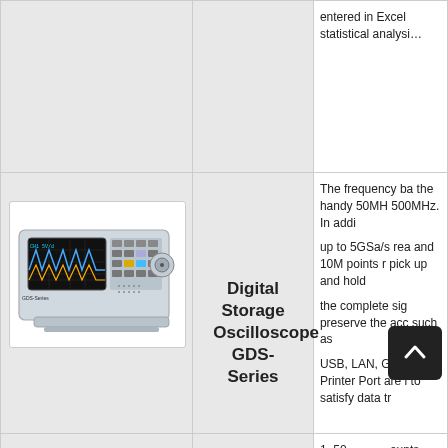entered in Excel statistical analysis
The frequency ba the handy 50MH 500MHz. In addi
up to 5GSa/s rea and 10M points r pick up and hold
the complete sig preserve the acc such as
USB, LAN, GPIB Printer Port are i to satisfy data tr
[Figure (photo): Digital Storage Oscilloscope GDS-Series product photo showing front-facing oscilloscope device with display screen and control buttons]
Digital Storage Oscilloscope GDS-Series
1. 50 counts
2. Multi-Function ACV,DCV,ACA,D